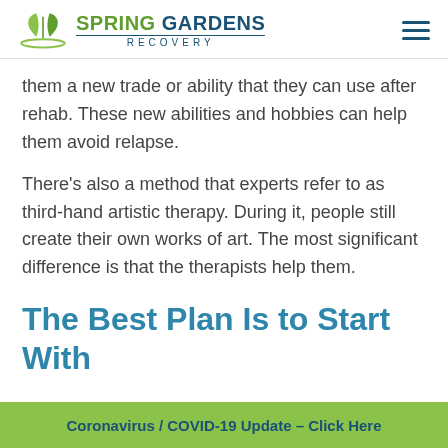Spring Gardens Recovery
them a new trade or ability that they can use after rehab. These new abilities and hobbies can help them avoid relapse.
There's also a method that experts refer to as third-hand artistic therapy. During it, people still create their own works of art. The most significant difference is that the therapists help them.
The Best Plan Is to Start With
Coronavirus / COVID-19 Update – Click Here